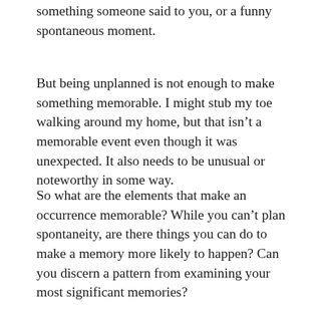something someone said to you, or a funny spontaneous moment.
But being unplanned is not enough to make something memorable. I might stub my toe walking around my home, but that isn’t a memorable event even though it was unexpected. It also needs to be unusual or noteworthy in some way.
So what are the elements that make an occurrence memorable? While you can’t plan spontaneity, are there things you can do to make a memory more likely to happen? Can you discern a pattern from examining your most significant memories?